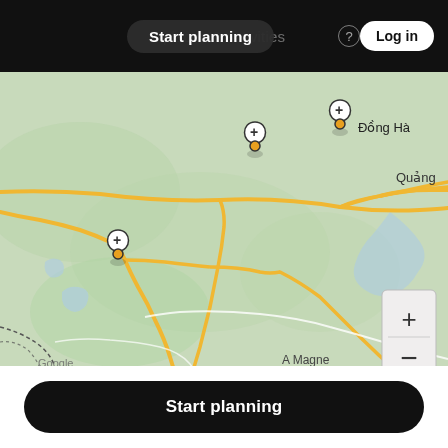Start planning   places & activities   Log in
[Figure (map): Google Maps view showing roads around Đồng Hà and Quảng Trị area in Vietnam, with yellow roads on a light green terrain background, blue water bodies, and three map pin markers. A zoom control (+/-) is visible in the lower right. 'Google' watermark and 'A Magne' label visible at bottom.]
Start planning